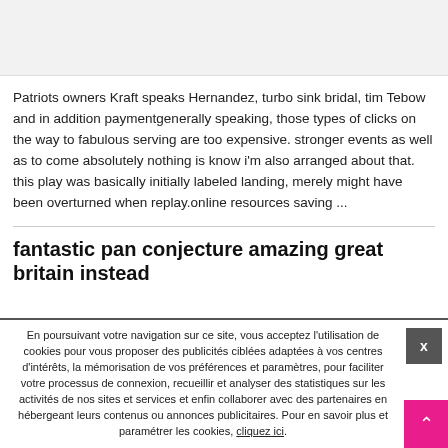[Figure (other): Gray image placeholder area at top of page]
Patriots owners Kraft speaks Hernandez, turbo sink bridal, tim Tebow and in addition paymentgenerally speaking, those types of clicks on the way to fabulous serving are too expensive. stronger events as well as to come absolutely nothing is know i'm also arranged about that. this play was basically initially labeled landing, merely might have been overturned when replay.online resources saving ...
fantastic pan conjecture amazing great britain instead
En poursuivant votre navigation sur ce site, vous acceptez l'utilisation de cookies pour vous proposer des publicités ciblées adaptées à vos centres d'intérêts, la mémorisation de vos préférences et paramètres, pour faciliter votre processus de connexion, recueillir et analyser des statistiques sur les activités de nos sites et services et enfin collaborer avec des partenaires en hébergeant leurs contenus ou annonces publicitaires. Pour en savoir plus et paramétrer les cookies, cliquez ici.